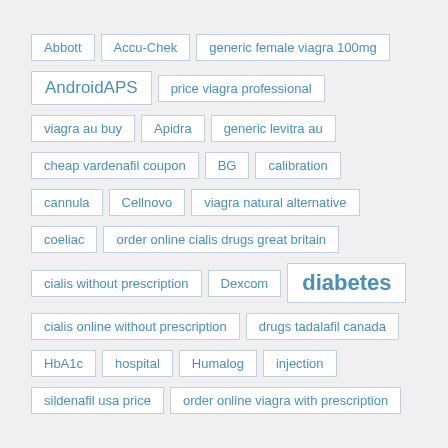Abbott
Accu-Chek
generic female viagra 100mg
AndroidAPS
price viagra professional
viagra au buy
Apidra
generic levitra au
cheap vardenafil coupon
BG
calibration
cannula
Cellnovo
viagra natural alternative
coeliac
order online cialis drugs great britain
cialis without prescription
Dexcom
diabetes
cialis online without prescription
drugs tadalafil canada
HbA1c
hospital
Humalog
injection
sildenafil usa price
order online viagra with prescription